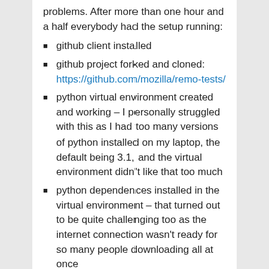problems. After more than one hour and a half everybody had the setup running:
github client installed
github project forked and cloned: https://github.com/mozilla/remo-tests/
python virtual environment created and working – I personally struggled with this as I had too many versions of python installed on my laptop, the default being 3.1, and the virtual environment didn't like that too much
python dependences installed in the virtual environment – that turned out to be quite challenging too as the internet connection wasn't ready for so many people downloading all at once
IDEs configured
we were able to run the two existing tests from the repository.
During this period Bebe, Alex and Alin – our instructors 😀 – moved from one person to the other to solve everybody's problems. I think they handled this really well